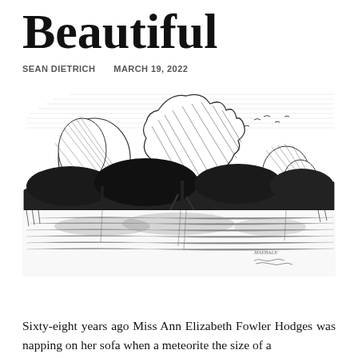Beautiful
SEAN DIETRICH   MARCH 19, 2022
[Figure (illustration): Pen-and-ink sketch of trees reflected in a calm body of water, with birds in the sky and detailed cross-hatching shading.]
Sixty-eight years ago Miss Ann Elizabeth Fowler Hodges was napping on her sofa when a meteorite the size of a